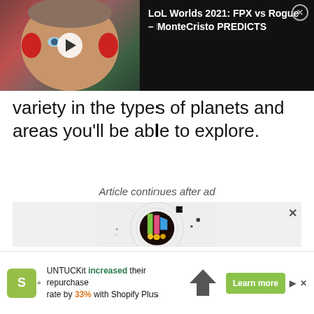[Figure (screenshot): Video thumbnail showing a person wearing red headphones, with a play button overlay. Dark background with white text showing video title.]
LoL Worlds 2021: FPX vs Rogue – MonteCristo PREDICTS
variety in the types of planets and areas you'll be able to explore.
Article continues after ad
[Figure (other): Advertisement graphic with dark circular design and colorful geometric shapes on light grey background.]
[Figure (other): Bottom banner advertisement: UNTUCKit increased their repurchase rate by 33% with Shopify Plus. Learn more button.]